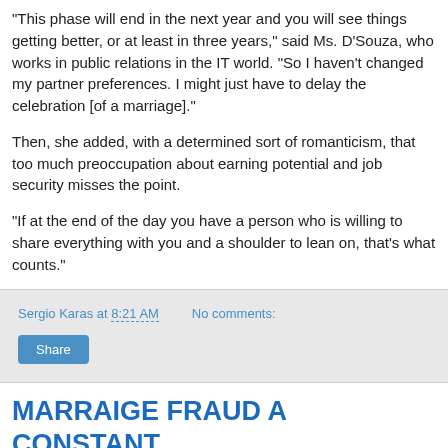"This phase will end in the next year and you will see things getting better, or at least in three years," said Ms. D'Souza, who works in public relations in the IT world. "So I haven't changed my partner preferences. I might just have to delay the celebration [of a marriage]."
Then, she added, with a determined sort of romanticism, that too much preoccupation about earning potential and job security misses the point.
"If at the end of the day you have a person who is willing to share everything with you and a shoulder to lean on, that's what counts."
Sergio Karas at 8:21 AM   No comments:
Share
MARRAIGE FRAUD A CONSTANT PROBLEM THAT HAS TO BE